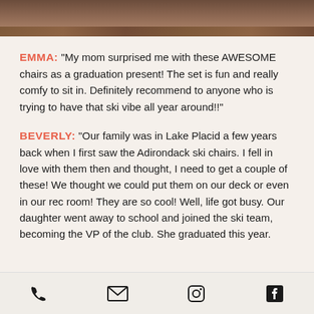[Figure (photo): Partial photo showing wooden deck/floor with ski chairs visible at the top of the page]
EMMA: "My mom surprised me with these AWESOME chairs as a graduation present! The set is fun and really comfy to sit in. Definitely recommend to anyone who is trying to have that ski vibe all year around!!"
BEVERLY: "Our family was in Lake Placid a few years back when I first saw the Adirondack ski chairs. I fell in love with them then and thought, I need to get a couple of these! We thought we could put them on our deck or even in our rec room! They are so cool! Well, life got busy. Our daughter went away to school and joined the ski team, becoming the VP of the club. She graduated this year.
Phone | Email | Instagram | Facebook icons